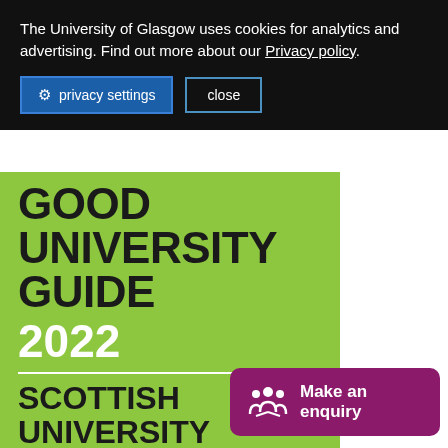The University of Glasgow uses cookies for analytics and advertising. Find out more about our Privacy policy.
privacy settings
close
[Figure (other): Good University Guide 2022 – Scottish University of the Year award badge on green background]
Make an enquiry